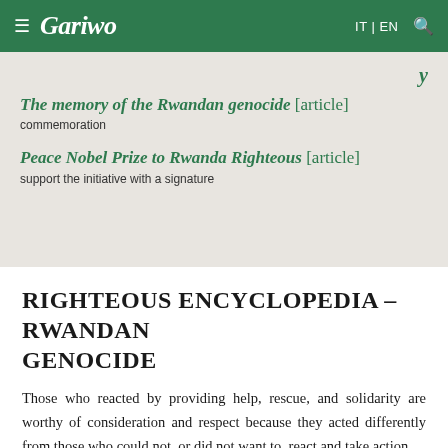Gariwo — IT | EN
The memory of the Rwandan genocide [article] — commemoration
Peace Nobel Prize to Rwanda Righteous [article] — support the initiative with a signature
RIGHTEOUS ENCYCLOPEDIA – RWANDAN GENOCIDE
Those who reacted by providing help, rescue, and solidarity are worthy of consideration and respect because they acted differently from those who could not, or did not want to, react and take action.